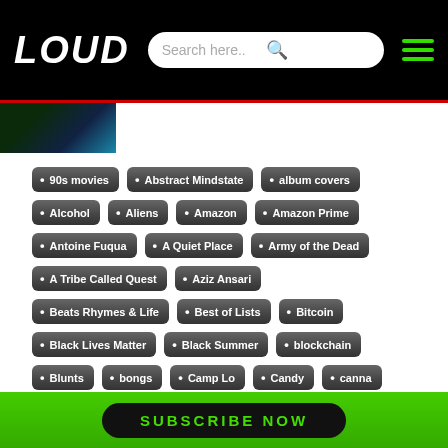LOUD — Search header with hamburger menu
[Figure (photo): Partial thumbnail image with blue flame/light visible]
90s movies
Abstract Mindstate
album covers
Alcohol
Aliens
Amazon
Amazon Prime
Antoine Fuqua
A Quiet Place
Army of the Dead
A Tribe Called Quest
Aziz Ansari
Beats Rhymes & Life
Best of Lists
Bitcoin
Black Lives Matter
Black Summer
blockchain
Blunts
bongs
Camp Lo
Candy
canna
Show More
SUBSCRIBE NOW